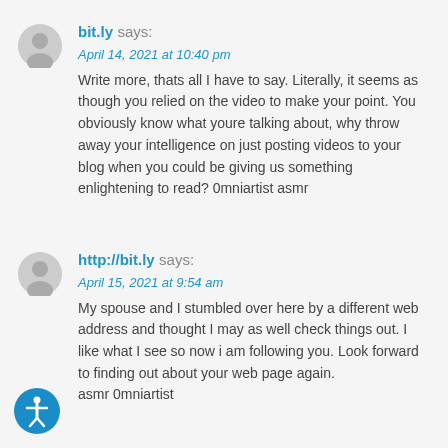bit.ly says:
April 14, 2021 at 10:40 pm
Write more, thats all I have to say. Literally, it seems as though you relied on the video to make your point. You obviously know what youre talking about, why throw away your intelligence on just posting videos to your blog when you could be giving us something enlightening to read? 0mniartist asmr
http://bit.ly says:
April 15, 2021 at 9:54 am
My spouse and I stumbled over here by a different web address and thought I may as well check things out. I like what I see so now i am following you. Look forward to finding out about your web page again.
asmr 0mniartist